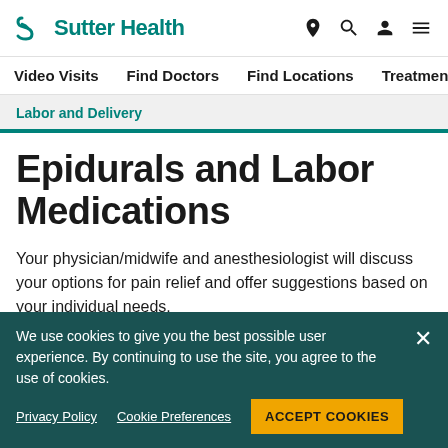Sutter Health
Video Visits  Find Doctors  Find Locations  Treatments
Labor and Delivery
Epidurals and Labor Medications
Your physician/midwife and anesthesiologist will discuss your options for pain relief and offer suggestions based on your individual needs.
We use cookies to give you the best possible user experience. By continuing to use the site, you agree to the use of cookies.
Privacy Policy  Cookie Preferences  ACCEPT COOKIES